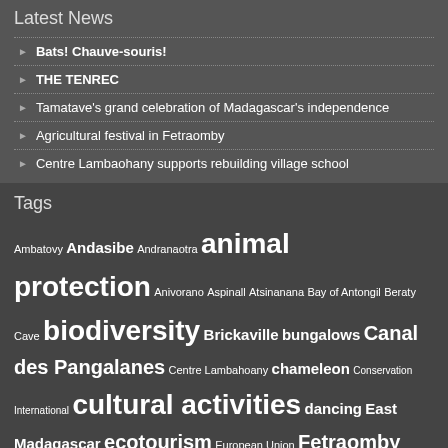Latest News
Bats! Chauve-souris!
THE TENREC
Tamatave's grand celebration of Madagascar's independence
Agricultural festival in Fetraomby
Centre Lambaohany supports rebuilding village school
Tags
Ambatovy Andasibe Andranaotra animal protection Anivorano Aspinall Atsinanana Bay of Antongil Beraty Cave biodiversity Brickaville bungalows Canal des Pangalanes Centre Lambahoany chameleon Conservation International cultural activities dancing East Madagascar ecotourism European Union Fetraomby garden humpback whales Ile Ste Marie Indian Ocean Commission indri-indri lemures lemurs Marovato martial arts music pochard rainforest RIANALA Rola Gamana Sahamamy Tamatave Toamasina Town treks trips UNESCO World Heritage wildlife